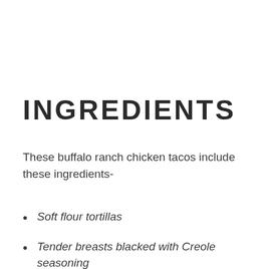INGREDIENTS
These buffalo ranch chicken tacos include these ingredients-
Soft flour tortillas
Tender breasts blacked with Creole seasoning